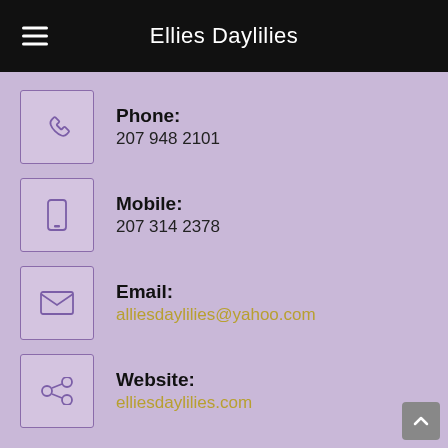Ellies Daylilies
Phone: 207 948 2101
Mobile: 207 314 2378
Email: alliesdaylilies@yahoo.com
Website: elliesdaylilies.com
Follow Us
[Figure (illustration): Facebook and Pinterest social media circular icon buttons]